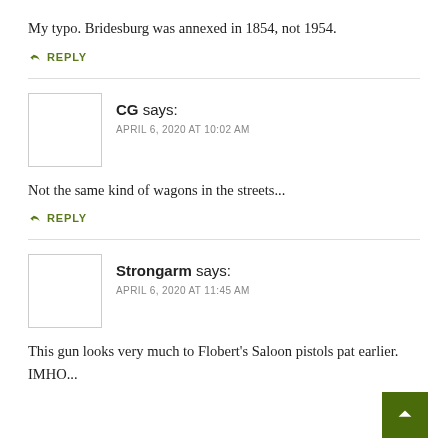My typo. Bridesburg was annexed in 1854, not 1954.
↩ REPLY
CG says:
APRIL 6, 2020 AT 10:02 AM
Not the same kind of wagons in the streets...
↩ REPLY
Strongarm says:
APRIL 6, 2020 AT 11:45 AM
This gun looks very much to Flobert's Saloon pistols pat earlier. IMHO...